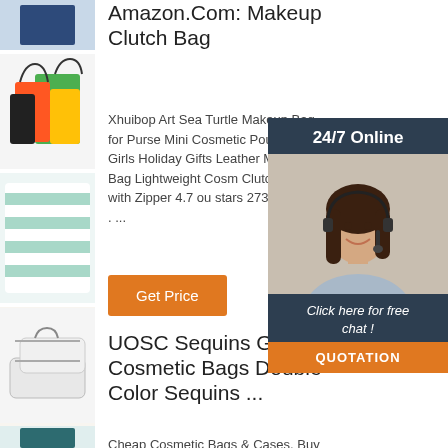[Figure (photo): Navy blue fabric/textile thumbnail]
[Figure (photo): Colorful tote bags thumbnail (green, orange, red, black)]
[Figure (photo): Striped mint and white towel/cloth thumbnail]
[Figure (photo): Cream/beige tote bag thumbnail]
[Figure (photo): Small zipper pouches thumbnail]
[Figure (photo): Teal bag partial thumbnail (bottom)]
Amazon.Com: Makeup Clutch Bag
Xhuibop Art Sea Turtle Makeup Bag for Purse Mini Cosmetic Pouch for Girls Holiday Gifts Leather Makeup Pouch Bag Lightweight Cosmetic Clutch Bag with Zipper 4.7 ou stars 273 $7.99 $ 7 . ...
[Figure (screenshot): 24/7 Online chat support ad with woman wearing headset. Header: 24/7 Online. Footer text: Click here for free chat! Button: QUOTATION]
UOSC Sequins Glitter Cosmetic Bags Double Color Sequins ...
Cheap Cosmetic Bags & Cases, Buy
[Figure (logo): TOP logo in orange/red with crown shape]